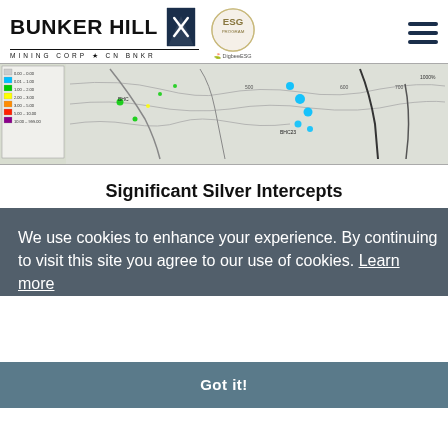Bunker Hill Mining Corp | CN BNKR | ESG | DigbeeESG
[Figure (map): Geological map showing silver intercepts with color-coded legend indicating various depth/grade ranges, with cyan/blue/green/yellow/orange/red colored drill intercept markers overlaid on a mine plan view.]
Significant Silver Intercepts
|  |  |  | M |
| --- | --- | --- | --- |
|  |  |  | 12.2 |
| Including | 16.8 | 17.4 | 0.6 |
We use cookies to enhance your experience. By continuing to visit this site you agree to our use of cookies. Learn more
Got it!